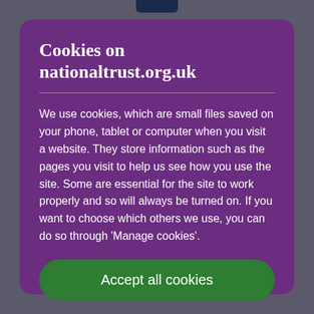Cookies on nationaltrust.org.uk
We use cookies, which are small files saved on your phone, tablet or computer when you visit a website. They store information such as the pages you visit to help us see how you use the site. Some are essential for the site to work properly and so will always be turned on. If you want to choose which others we use, you can do so through 'Manage cookies'.
Accept all cookies
Manage cookies